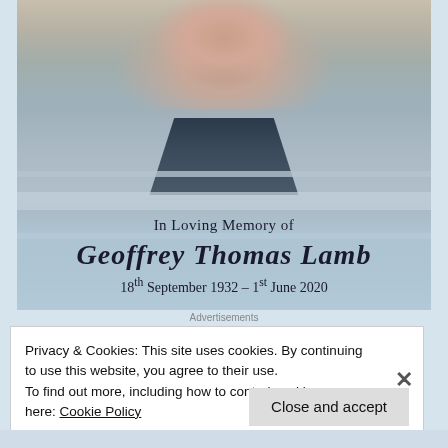[Figure (photo): Memorial card photo of Geoffrey Thomas Lamb, an elderly man wearing a grey and blue striped polo shirt with a dark navy collar, overlaid with a light blue gradient and memorial text.]
In Loving Memory of
Geoffrey Thomas Lamb
18th September 1932 – 1st June 2020
Advertisements
Privacy & Cookies: This site uses cookies. By continuing to use this website, you agree to their use.
To find out more, including how to control cookies, see here: Cookie Policy
Close and accept